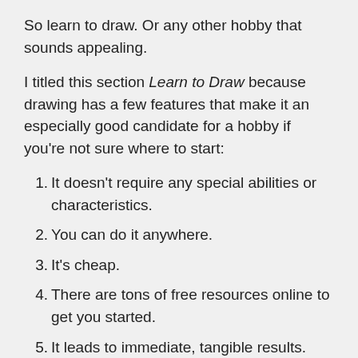So learn to draw. Or any other hobby that sounds appealing.
I titled this section Learn to Draw because drawing has a few features that make it an especially good candidate for a hobby if you're not sure where to start:
1. It doesn't require any special abilities or characteristics.
2. You can do it anywhere.
3. It's cheap.
4. There are tons of free resources online to get you started.
5. It leads to immediate, tangible results. Which is